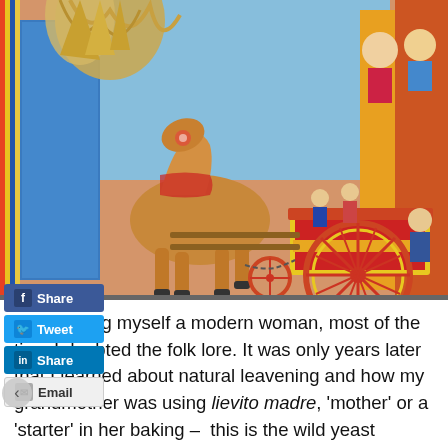[Figure (photo): Colorful traditional Sicilian cart (carretto siciliano) with a decorated horse figurine, ornate painted panels depicting figures and scenes, and a large spoked wheel. Bright reds, yellows, blues and greens dominate the folk art decoration.]
[Figure (infographic): Social media sharing buttons overlaid on image: Facebook Share (blue), Twitter Tweet (blue), LinkedIn Share (blue), Email (grey)]
But thinking myself a modern woman, most of the time I doubted the folk lore. It was only years later that I learned about natural leavening and how my grandmother was using lievito madre, 'mother' or a 'starter' in her baking – this is the wild yeast mixture that develops bacterial and lactic ferments that promote natural leavening. It is what imparts the bubbles in the texture of the dough and contributes to the characteristic aroma and flavour found in sour dough bread.